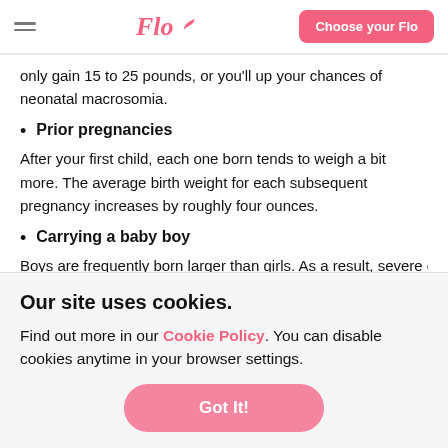Flo | Choose your Flo
only gain 15 to 25 pounds, or you'll up your chances of neonatal macrosomia.
Prior pregnancies
After your first child, each one born tends to weigh a bit more. The average birth weight for each subsequent pregnancy increases by roughly four ounces.
Carrying a baby boy
Boys are frequently born larger than girls. As a result, severe cases
Our site uses cookies.
Find out more in our Cookie Policy. You can disable cookies anytime in your browser settings.
Got It!